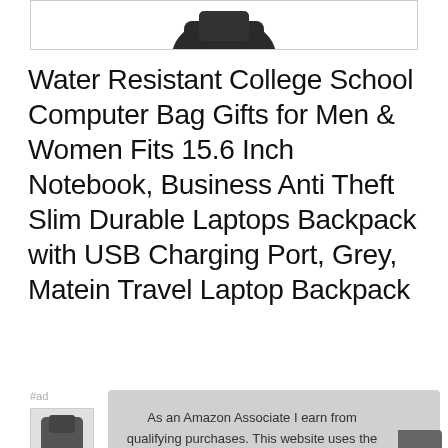[Figure (photo): Partial view of a dark laptop backpack product image, bottom portion visible]
Water Resistant College School Computer Bag Gifts for Men & Women Fits 15.6 Inch Notebook, Business Anti Theft Slim Durable Laptops Backpack with USB Charging Port, Grey, Matein Travel Laptop Backpack
#ad
[Figure (photo): Small thumbnail of laptop backpack]
As an Amazon Associate I earn from qualifying purchases. This website uses the only necessary cookies to ensure you get the best experience on our website. More information